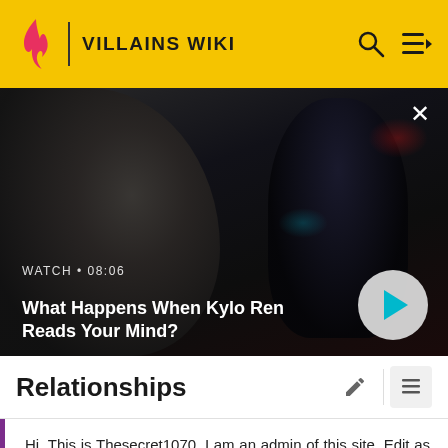VILLAINS WIKI
[Figure (screenshot): Video thumbnail showing dark-robed figure, with title 'What Happens When Kylo Ren Reads Your Mind?' and play button. Duration shown as 08:06.]
Relationships
Hi. This is Thesecret1070. I am an admin of this site. Edit as much as you wish, but one little thing... If you are going to edit a lot, then make yourself a user and login. Other than that, enjoy Villains Wiki!!!